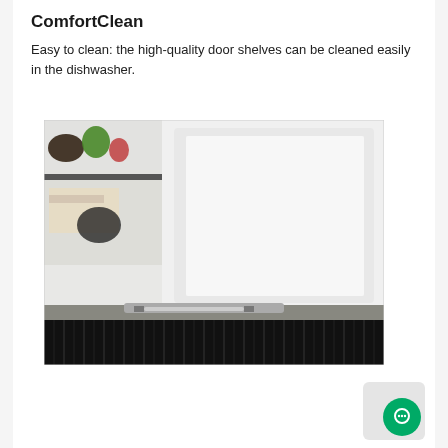ComfortClean
Easy to clean: the high-quality door shelves can be cleaned easily in the dishwasher.
[Figure (photo): Close-up photo of a refrigerator showing the interior shelves with food items on the left side and the white door panel on the right, with the bottom section showing a dark black grill/compressor area and a metal hinge mechanism in the middle.]